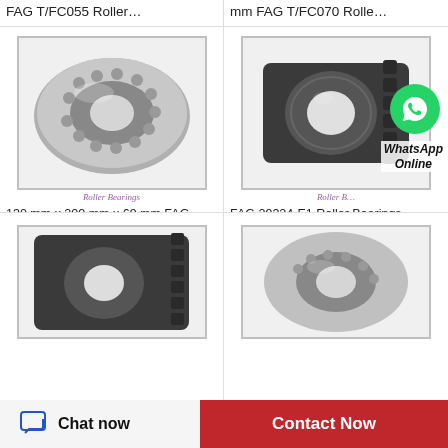FAG T/FC055 Roller...
mm FAG T/FC070 Rolle...
[Figure (photo): Spherical roller bearing, silver/grey metallic, front view showing rolling elements]
Roller Bearings
130 mm x 200 mm x 69 mm FAG 24026-E1 Rolle...
[Figure (photo): Dark cylindrical roller bearing with ribbed outer ring, WhatsApp icon overlay]
Roller B... WhatsApp Online
FAG 29324-E1 Roller Bearings
[Figure (photo): Dark roller bearing, bottom-left product image, partially visible]
[Figure (photo): Spherical roller bearing silver, bottom-right product image, partially visible]
Chat now
Contact Now